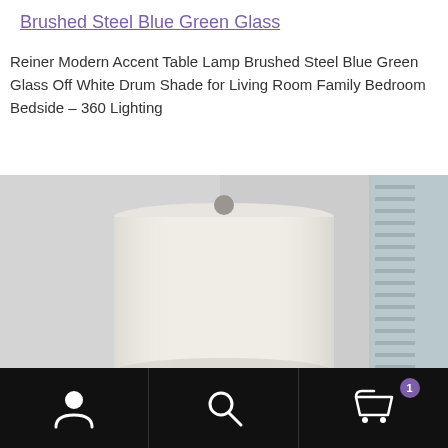Brushed Steel Blue Green Glass
Reiner Modern Accent Table Lamp Brushed Steel Blue Green Glass Off White Drum Shade for Living Room Family Bedroom Bedside – 360 Lighting
[Figure (photo): Product photo of a modern accent table lamp with brushed steel base and off-white drum shade, shown against a light grey/white background.]
Navigation bar with user account icon, search icon, and shopping cart icon with badge showing 1 item.